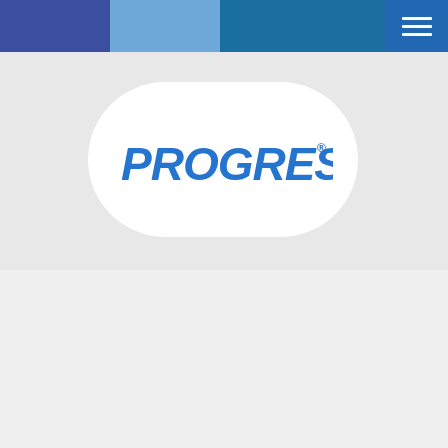[Figure (logo): Progressive Insurance logo in blue italic bold text on a white rounded pill/stadium shape, set against a light gray background. A navigation color bar at top with blue, light blue, teal, and red segments, plus a blue hamburger menu button in the top right corner.]
[Figure (logo): Facebook social media icon - letter f in a circle outline, dark blue color, on light gray background.]
[Figure (illustration): Accessibility icon - person figure in a circle with accessible design symbol, dark blue on light gray background.]